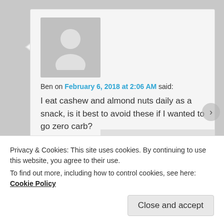[Figure (illustration): Grey avatar/profile placeholder image showing a silhouette of a person]
Ben on February 6, 2018 at 2:06 AM said:
I eat cashew and almond nuts daily as a snack, is it best to avoid these if I wanted to go zero carb?
★ Like
Reply ↓
Privacy & Cookies: This site uses cookies. By continuing to use this website, you agree to their use.
To find out more, including how to control cookies, see here: Cookie Policy
Close and accept